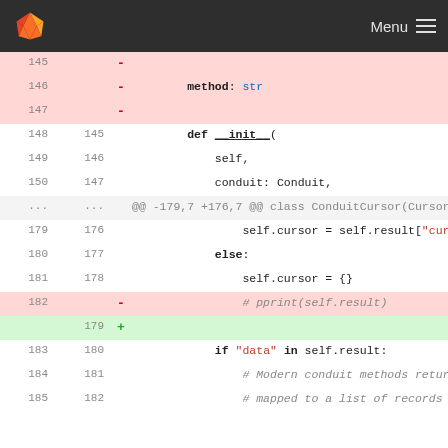[Figure (screenshot): GitLab navigation bar with fox logo and Menu button]
Code diff view showing Python source file changes. Lines 145-147 deleted (method: str), lines 148-185 shown with context. Removed line 182: # pprint(self.result), added blank line 179. Shows def __init__, conduit: Conduit, self.cursor assignments, else block, and comment lines about Modern conduit methods.